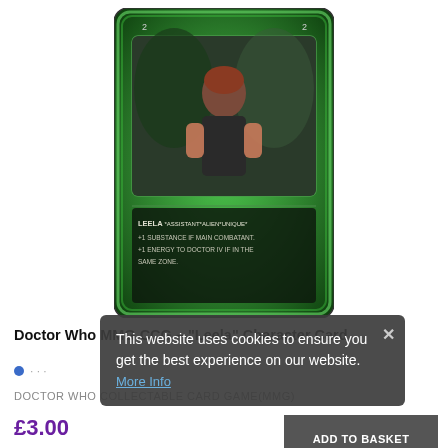[Figure (photo): Doctor Who MMG CCG trading card for the character Leela. The card has a dark green swirling background border, a photo of a woman with red/brown hair in a dark outfit crouching in a forest setting. Text on the card reads: LEELA *ASSISTANT*ALIEN*UNIQUE* +1 SUBSTANCE IF MAIN COMBATANT. +1 ENERGY TO DOCTOR IV IF IN THE SAME ZONE.]
Doctor Who MMG CCG – "Leela" Character Card
· · ·
DOCTOR WHO COLLECTABLE CARD GAME(MMG)
£3.00
ADD TO BASKET
This website uses cookies to ensure you get the best experience on our website. More Info